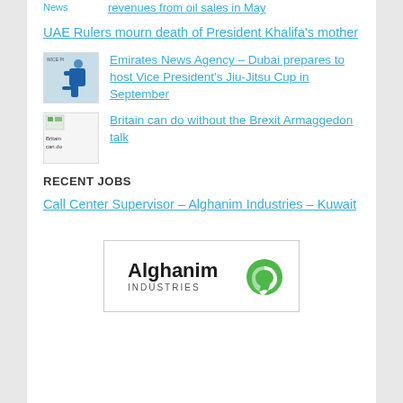revenues from oil sales in May
UAE Rulers mourn death of President Khalifa's mother
Emirates News Agency – Dubai prepares to host Vice President's Jiu-Jitsu Cup in September
Britain can do without the Brexit Armaggedon talk
RECENT JOBS
Call Center Supervisor – Alghanim Industries – Kuwait
[Figure (logo): Alghanim Industries logo with green swirl icon and black text]